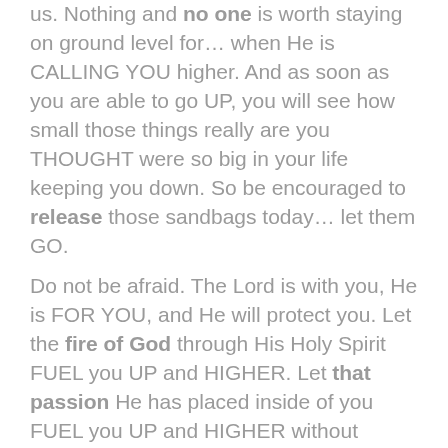us. Nothing and no one is worth staying on ground level for… when He is CALLING YOU higher. And as soon as you are able to go UP, you will see how small those things really are you THOUGHT were so big in your life keeping you down. So be encouraged to release those sandbags today… let them GO.
Do not be afraid. The Lord is with you, He is FOR YOU, and He will protect you. Let the fire of God through His Holy Spirit FUEL you UP and HIGHER. Let that passion He has placed inside of you FUEL you UP and HIGHER without restraints, holding on to nothing BUT HIM. PRAYER: Father I honor who you are in